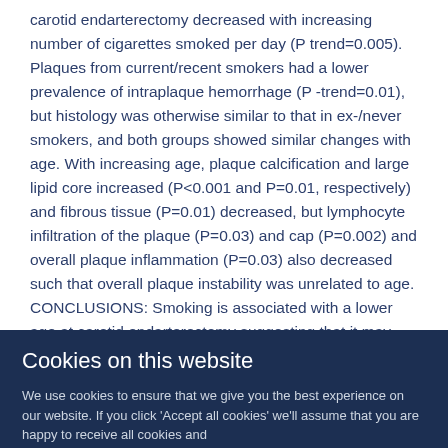carotid endarterectomy decreased with increasing number of cigarettes smoked per day (P trend=0.005). Plaques from current/recent smokers had a lower prevalence of intraplaque hemorrhage (P -trend=0.01), but histology was otherwise similar to that in ex-/never smokers, and both groups showed similar changes with age. With increasing age, plaque calcification and large lipid core increased (P<0.001 and P=0.01, respectively) and fibrous tissue (P=0.01) decreased, but lymphocyte infiltration of the plaque (P=0.03) and cap (P=0.002) and overall plaque inflammation (P=0.03) also decreased such that overall plaque instability was unrelated to age. CONCLUSIONS: Smoking is associated with a lower age at carotid endarterectomy suggesting that it may accelerate the development and/or progression of atherosclerosis.
Cookies on this website
We use cookies to ensure that we give you the best experience on our website. If you click 'Accept all cookies' we'll assume that you are happy to receive all cookies and